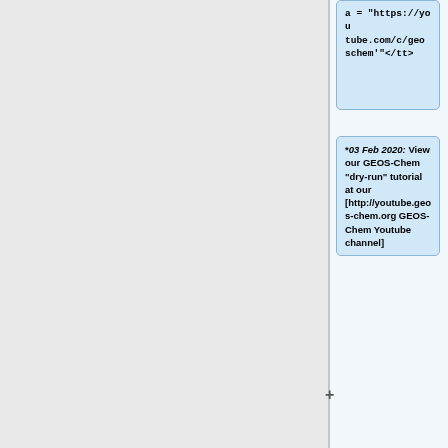*'''03 Feb 2020:''' View our GEOS-Chem "dry-run" tutorial at our [http://youtube.geos-chem.org GEOS-Chem Youtube channel]
*'''17 Sep 2019:''' NASA/GMAO is now producing [https://gmao.gsfc.nasa.gov/weather_prediction/GEOS-CF/ GEOS chemical forecasts